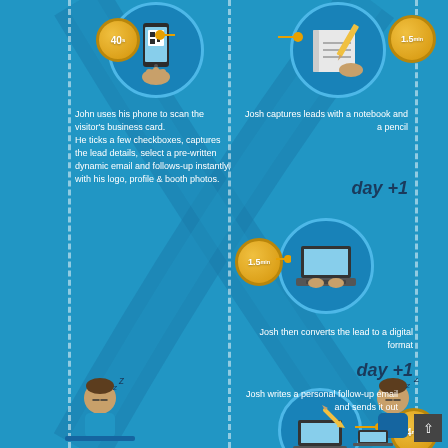[Figure (infographic): Infographic comparing John (using phone app, 40 seconds) vs Josh (using notebook and pencil, 1.5 min) for lead capture at events. Shows Josh then takes day+1 to convert lead to digital format (1.5 min) and day+1 to write personal follow-up email (4 min). Dashed vertical lines divide sections. Cross-shaped path connects the two workflows. Bottom shows sleeping/tired figures.]
John uses his phone to scan the visitor's business card. He ticks a few checkboxes, captures the lead details, select a pre-written dynamic email and follows-up instantly, with his logo, profile & booth photos.
Josh captures leads with a notebook and a pencil
day +1
Josh then converts the lead to a digital format
day +1
Josh writes a personal follow-up email and sends it out